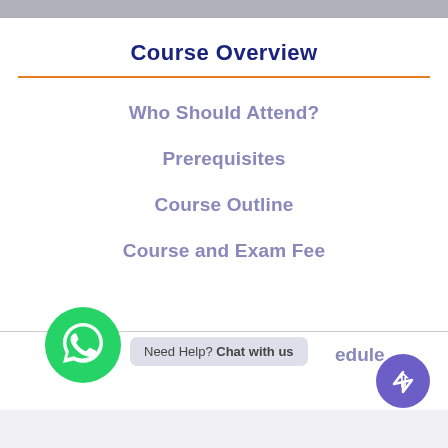Course Overview
Who Should Attend?
Prerequisites
Course Outline
Course and Exam Fee
Need Help? Chat with us
edule